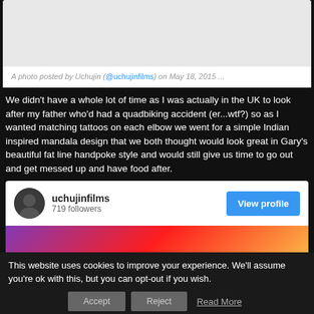[Figure (screenshot): Instagram embedded post card showing photo area (light gray) and caption text below]
A photo posted by Uchujin (@uchujinfilms) on May 18, 2015 ...
We didn't have a whole lot of time as I was actually in the UK to look after my father who'd had a quadbiking accident (er...wtf?) so as I wanted matching tattoos on each elbow we went for a simple Indian inspired mandala design that we both thought would look great in Gary's beautiful fat line handpoke style and would still give us time to go out and get messed up and have food after.
[Figure (screenshot): Instagram profile card for uchujinfilms with 719 followers and a View profile button, plus a partial image preview below]
This website uses cookies to improve your experience. We'll assume you're ok with this, but you can opt-out if you wish.
Accept
Reject
Read More